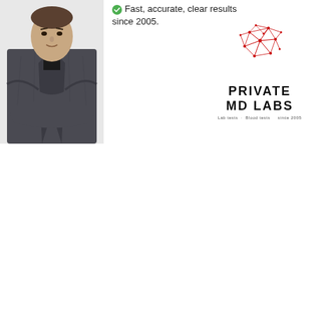[Figure (photo): A man in a dark suit jacket with arms crossed, professional pose, cropped from shoulders up to thigh, positioned on the left side of the image.]
Fast, accurate, clear results since 2005.
[Figure (logo): Private MD Labs logo: red geometric crystalline/network shape above bold black text 'PRIVATE MD LABS' with smaller text 'Lab tests · Blood tests   since 2005']